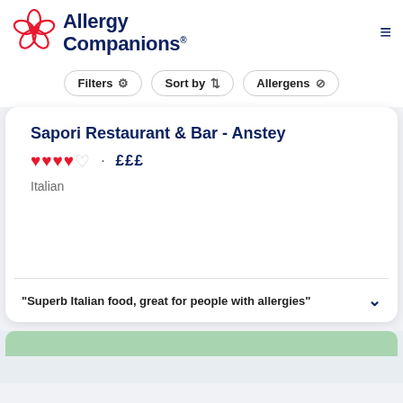[Figure (logo): Allergy Companions logo with pink flower icon and dark blue bold text reading 'Allergy Companions' with registered trademark symbol]
Filters  Sort by  Allergens
Sapori Restaurant & Bar - Anstey
♥♥♥♥♡ · £££
Italian
"Superb Italian food, great for people with allergies"